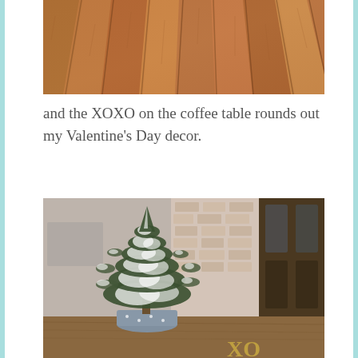[Figure (photo): Close-up photo of wooden floor boards with warm brown tones showing wood grain texture, viewed from an angle.]
and the XOXO on the coffee table rounds out my Valentine's Day decor.
[Figure (photo): Photo of a small snow-flocked evergreen tree in a decorative pot on a wooden coffee table, with a brick fireplace and dark wood door in the background. Gold XOXO letters visible at the bottom right.]